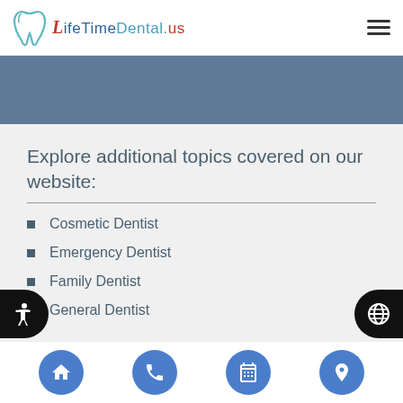LifeTimeDental.us
[Figure (other): Teal/blue banner placeholder area]
Explore additional topics covered on our website:
Cosmetic Dentist
Emergency Dentist
Family Dentist
General Dentist
Navigation icons: home, phone, calendar, location